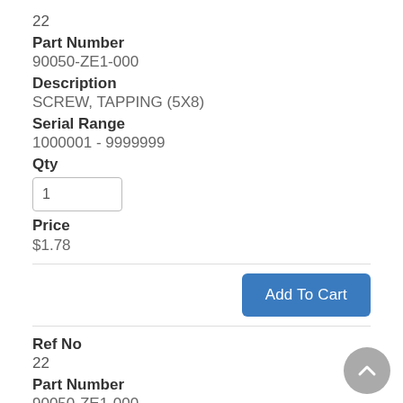22
Part Number
90050-ZE1-000
Description
SCREW, TAPPING (5X8)
Serial Range
1000001 - 9999999
Qty
1
Price
$1.78
[Figure (other): Add To Cart button]
Ref No
22
Part Number
90050-ZE1-000
Description
SCREW, TAPPING (5X8)
Serial Range